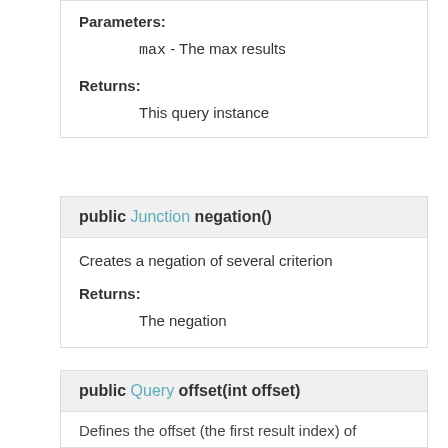Parameters:
max - The max results
Returns:
This query instance
public Junction negation()
Creates a negation of several criterion
Returns:
The negation
public Query offset(int offset)
Defines the offset (the first result index) of